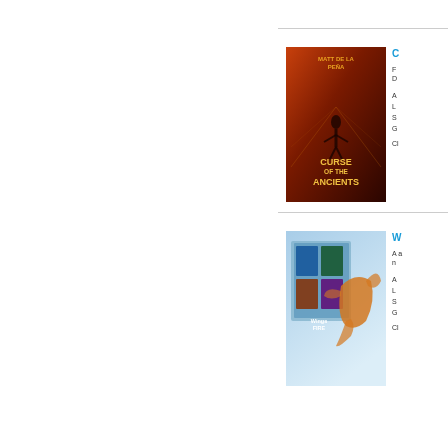[Figure (photo): Book cover of 'Curse of the Ancients' by Matt de la Peña – dark reddish-orange background with a figure silhouette]
C
F
D
A
L
S
G
Cl
[Figure (photo): Book cover box set of 'Wings of Fire' series – light blue background with dragon imagery]
W
A a n
A
L
S
G
Cl